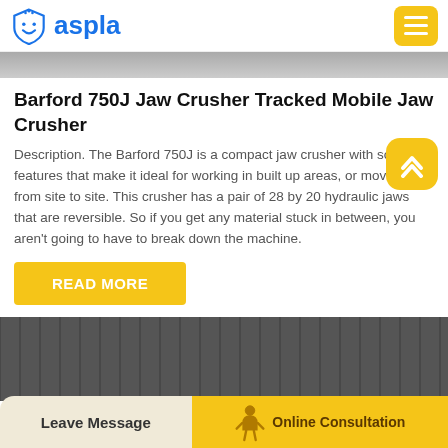aspla
[Figure (photo): Top partial image of machinery/jaw crusher scene, partially visible]
Barford 750J Jaw Crusher Tracked Mobile Jaw Crusher
Description. The Barford 750J is a compact jaw crusher with some features that make it ideal for working in built up areas, or moving from site to site. This crusher has a pair of 28 by 20 hydraulic jaws that are reversible. So if you get any material stuck in between, you aren't going to have to break down the machine.
READ MORE
[Figure (photo): Bottom partial image of industrial building or machinery, dark corrugated metal surface]
Leave Message | Online Consultation